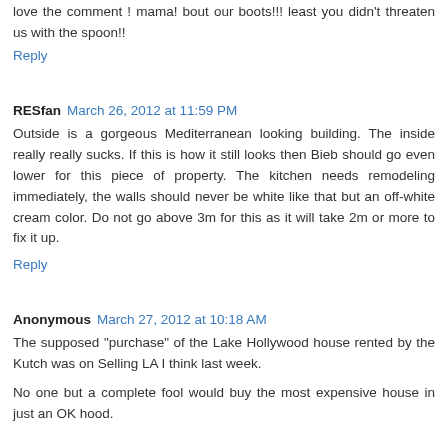love the comment ! mama! bout our boots!!! least you didn't threaten us with the spoon!!
Reply
RESfan  March 26, 2012 at 11:59 PM
Outside is a gorgeous Mediterranean looking building. The inside really really sucks. If this is how it still looks then Bieb should go even lower for this piece of property. The kitchen needs remodeling immediately, the walls should never be white like that but an off-white cream color. Do not go above 3m for this as it will take 2m or more to fix it up.
Reply
Anonymous  March 27, 2012 at 10:18 AM
The supposed "purchase" of the Lake Hollywood house rented by the Kutch was on Selling LA I think last week.
No one but a complete fool would buy the most expensive house in just an OK hood.